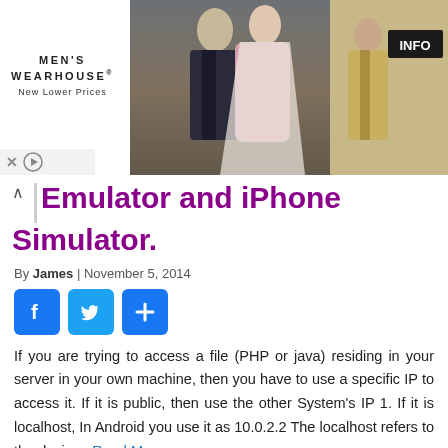[Figure (photo): Men's Wearhouse advertisement banner showing a couple in formal wear and a man in a tan suit with INFO button]
Emulator and iPhone Simulator.
By James | November 5, 2014
[Figure (infographic): Social share buttons: Facebook, Twitter, and share/plus icon]
If you are trying to access a file (PHP or java) residing in your server in your own machine, then you have to use a specific IP to access it. If it is public, then use the other System's IP 1. If it is localhost, In Android you use it as 10.0.2.2 The localhost refers to the device... Read More »